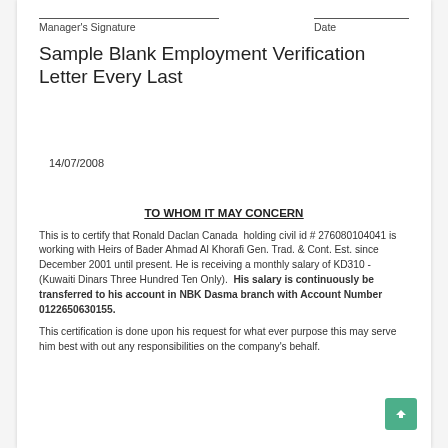Manager's Signature    Date
Sample Blank Employment Verification Letter Every Last
14/07/2008
TO WHOM IT MAY CONCERN
This is to certify that Ronald Daclan Canada holding civil id # 276080104041 is working with Heirs of Bader Ahmad Al Khorafi Gen. Trad. & Cont. Est. since December 2001 until present. He is receiving a monthly salary of KD310 - (Kuwaiti Dinars Three Hundred Ten Only). His salary is continuously be transferred to his account in NBK Dasma branch with Account Number 0122650630155.
This certification is done upon his request for what ever purpose this may serve him best with out any responsibilities on the company's behalf.